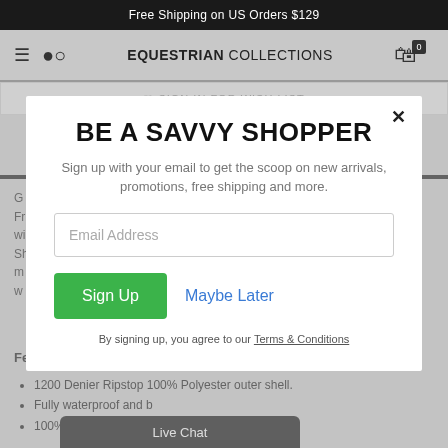Free Shipping on US Orders $129
EQUESTRIAN COLLECTIONS
SIGN IN FOR WISH LIST
BE A SAVVY SHOPPER
Sign up with your email to get the scoop on new arrivals, promotions, free shipping and more.
Email Address
Sign Up
Maybe Later
By signing up, you agree to our Terms & Conditions
Features:
1200 Denier Ripstop 100% Polyester outer shell.
Fully waterproof and b…
100% Polyester lining
Live Chat